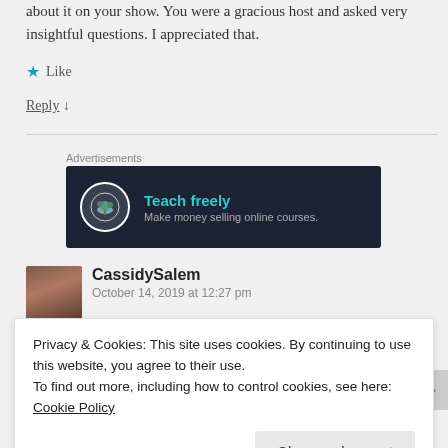about it on your show. You were a gracious host and asked very insightful questions. I appreciated that.
★ Like
Reply ↓
[Figure (infographic): Advertisement banner with dark background reading 'Teach freely — Make money selling online courses.' with a bonsai tree icon in a circle.]
CassidySalem
October 14, 2019 at 12:27 pm
Privacy & Cookies: This site uses cookies. By continuing to use this website, you agree to their use.
To find out more, including how to control cookies, see here: Cookie Policy
Close and accept